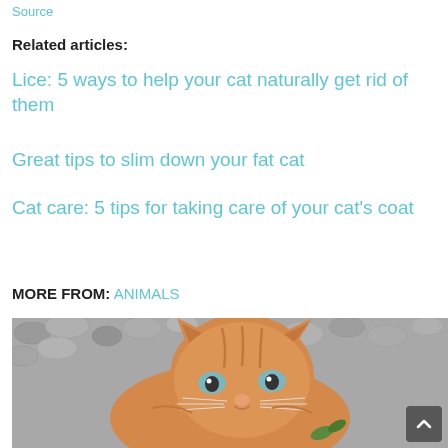Source
Related articles:
Lice: 5 ways to help your cat naturally get rid of them
Great tips to slim down your fat cat
Cat care: 5 tips for taking care of your cat's coat
MORE FROM: ANIMALS
[Figure (photo): Orange tabby kitten looking up at camera, lying on grey gravel stones]